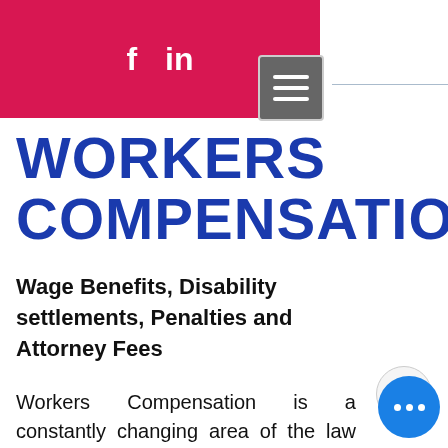[Figure (screenshot): Website header bar with crimson/red background showing Facebook (f) and LinkedIn (in) social media icons in white, and a hamburger menu button (three horizontal lines) in a grey box]
WORKERS COMPENSATION
Wage Benefits, Disability settlements, Penalties and Attorney Fees
Workers Compensation is a constantly changing area of the law that is complicated and fully of traps for the...